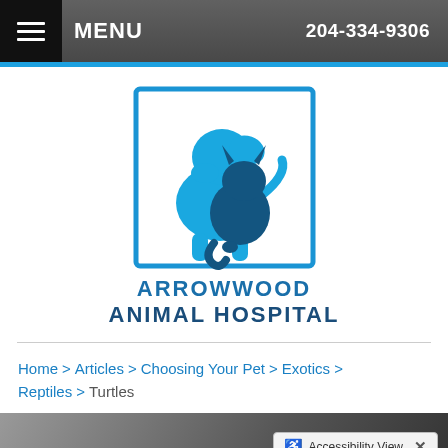MENU  204-334-9306
[Figure (logo): Arrowwood Animal Hospital logo: a blue square border containing a light-blue dog silhouette and a dark-blue cat silhouette sitting together]
ARROWWOOD ANIMAL HOSPITAL
Home > Articles > Choosing Your Pet > Exotics > Reptiles > Turtles
[Figure (photo): Partial bottom image strip, likely a close-up of a turtle, with an Accessibility View badge overlay]